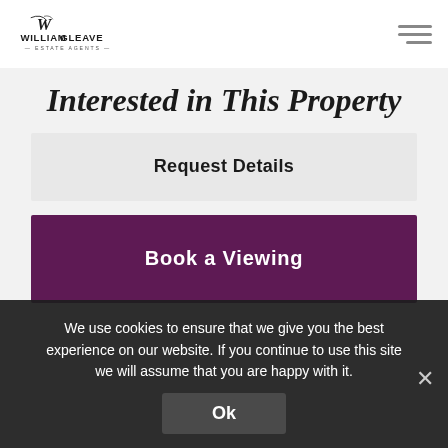WILLIAMGLEAVE ESTATE AGENTS
Interested in This Property
Request Details
Book a Viewing
We use cookies to ensure that we give you the best experience on our website. If you continue to use this site we will assume that you are happy with it.
Ok